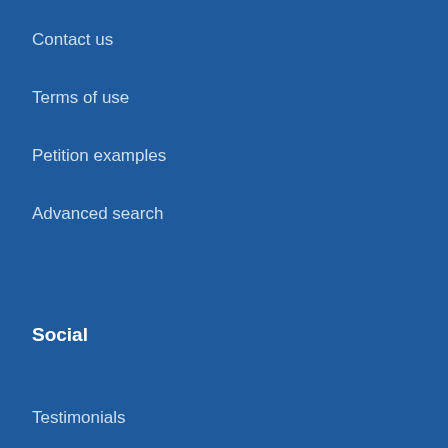Contact us
Terms of use
Petition examples
Advanced search
Social
Testimonials
Facebook
Twitter
YouTube
Blog